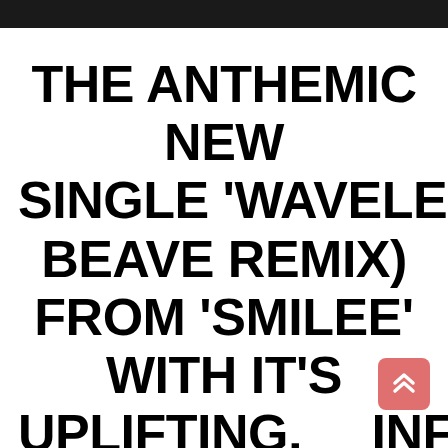THE ANTHEMIC NEW SINGLE 'WAVELENGTH' ( BEAVE REMIX) FROM 'SMILEE' WITH IT'S UPLIFTING, INFECTIOUS AND